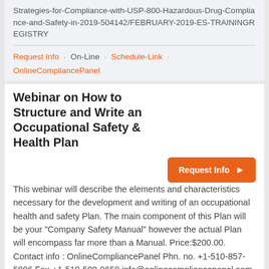Strategies-for-Compliance-with-USP-800-Hazardous-Drug-Compliance-and-Safety-in-2019-504142/FEBRUARY-2019-ES-TRAININGREGISTRY
Request Info · On-Line · Schedule-Link · OnlineCompliancePanel
Webinar on How to Structure and Write an Occupational Safety & Health Plan
This webinar will describe the elements and characteristics necessary for the development and writing of an occupational health and safety Plan. The main component of this Plan will be your "Company Safety Manual" however the actual Plan will encompass far more than a Manual. Price:$200.00. Contact info : OnlineCompliancePanel Phn. no. +1-510-857-5896 Fax-+1-510-509-9659 info@onlinecompliancepanel.com Event link - https://www.onlinecompliancepanel.com/webinar/How-to-Structure-and-Write-an-Occupational-Safety-Health-Plan-504050/FEBRUARY-2019-ES-TRAININGREGISTRY
Request Info · On-Line · Schedule-Link · OnlineCompliancePanel